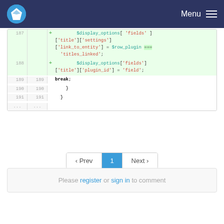Menu
[Figure (screenshot): Code diff showing PHP lines 187-191 and ellipsis, with added lines highlighted in green showing $display_options['fields']['title']['settings']['link_to_entity'] = $row_plugin === 'titles_linked'; and $display_options['fields']['title']['plugin_id'] = 'field'; followed by normal lines with break; closing braces]
‹ Prev  1  Next ›
Please register or sign in to comment